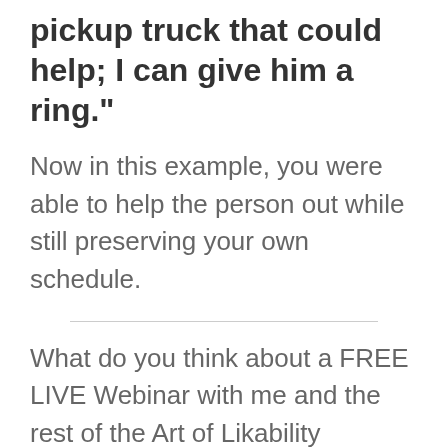pickup truck that could help; I can give him a ring."
Now in this example, you were able to help the person out while still preserving your own schedule.
What do you think about a FREE LIVE Webinar with me and the rest of the Art of Likability community? I hope you won't say no to that!